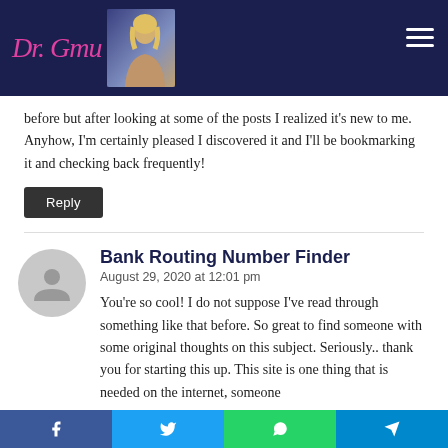Dr. Gmu [website header with logo and navigation]
before but after looking at some of the posts I realized it's new to me. Anyhow, I'm certainly pleased I discovered it and I'll be bookmarking it and checking back frequently!
Reply
Bank Routing Number Finder
August 29, 2020 at 12:01 pm
You're so cool! I do not suppose I've read through something like that before. So great to find someone with some original thoughts on this subject. Seriously.. thank you for starting this up. This site is one thing that is needed on the internet, someone